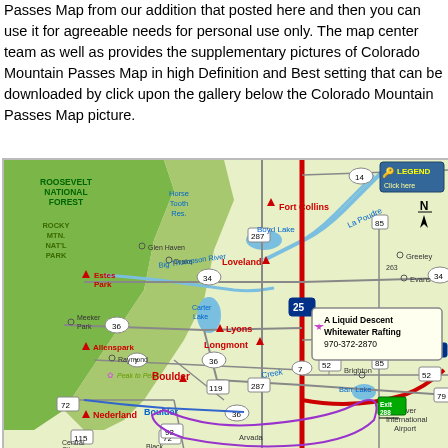Passes Map from our addition that posted here and then you can use it for agreeable needs for personal use only. The map center team as well as provides the supplementary pictures of Colorado Mountain Passes Map in high Definition and Best setting that can be downloaded by click upon the gallery below the Colorado Mountain Passes Map picture.
[Figure (map): Colorado Mountain Passes Map showing northern Colorado region including Fort Collins, Loveland, Longmont, Boulder, Nederland, Estes Park, Allenspark, Greeley, Evans, Brighton areas. Features roads including I-25, I-76, US-34, US-36, US-287, CO-7, CO-66, CO-85, CO-93, CO-119, CO-36, CO-52, CO-72. Shows Roosevelt National Forest, Rocky Mtn. Nat'l Park in green. Rivers including Big Thompson River, Cache la Poudre. Features a callout box for 'A Liquid Descent Whitewater Rafting 970-372-2870'. Denver International Airport shown at lower right. Legend and North arrow in upper right.]